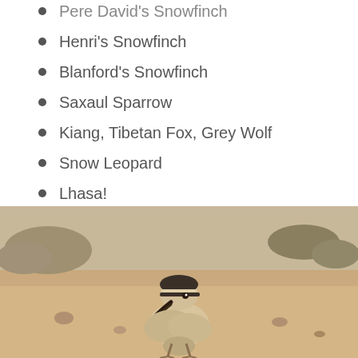Pere David's Snowfinch
Henri's Snowfinch
Blanford's Snowfinch
Saxaul Sparrow
Kiang, Tibetan Fox, Grey Wolf
Snow Leopard
Lhasa!
[Figure (photo): A bird standing on sandy/dusty ground with sparse dry vegetation in the background. The bird has a pale buff/cream colored body, dark cap, and a curved dark beak, photographed from the front.]